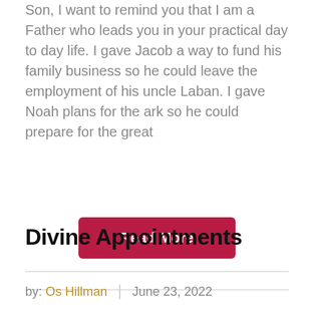Son, I want to remind you that I am a Father who leads you in your practical day to day life. I gave Jacob a way to fund his family business so he could leave the employment of his uncle Laban. I gave Noah plans for the ark so he could prepare for the great
[Figure (other): A dark red/crimson rounded rectangle button with white bold text reading 'Read More']
Divine Appointments
by: Os Hillman  |  June 23, 2022